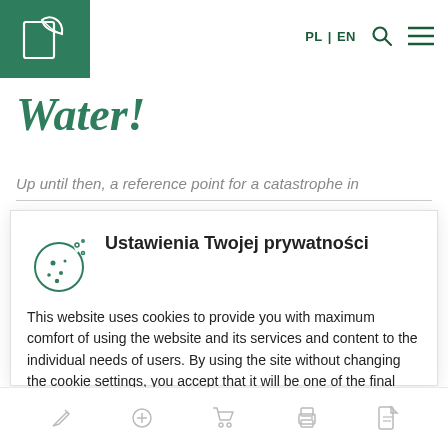[Figure (logo): Green square logo with white leaf/document icon]
PL | EN [search icon] [menu icon]
Water!
Up until then, a reference point for a catastrophe in
Ustawienia Twojej prywatności
This website uses cookies to provide you with maximum comfort of using the website and its services and content to the individual needs of users. By using the site without changing the cookie settings, you accept that it will be one of the final processing. You can change your cookie settings at any time
[edit icon] [add icon] [cart icon] [print icon] [file icon]